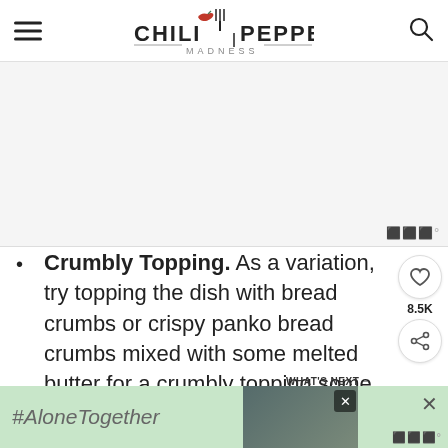CHILI PEPPER MADNESS
[Figure (other): Advertisement placeholder block in light gray]
Crumbly Topping. As a variation, try topping the dish with bread crumbs or crispy panko bread crumbs mixed with some melted butter for a crumbly topping some added crunch.
#AloneTogether